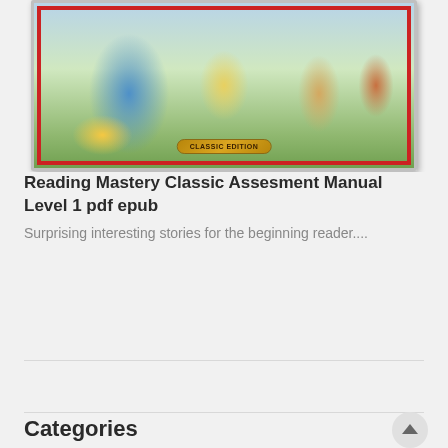[Figure (illustration): Book cover illustration for Reading Mastery Classic Assessment Manual Level 1, showing cartoon animal characters on a green outdoor background with a red border and a 'Classic Edition' gold oval badge at the bottom center.]
Reading Mastery Classic Assesment Manual Level 1 pdf epub
Surprising interesting stories for the beginning reader....
Categories